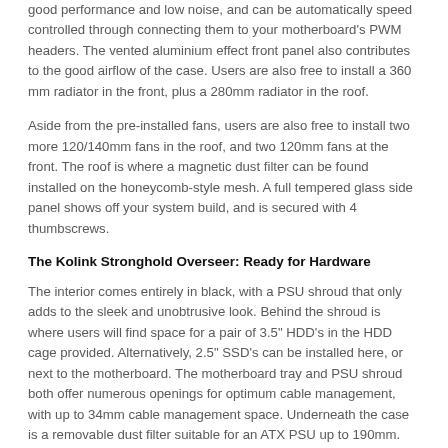good performance and low noise, and can be automatically speed controlled through connecting them to your motherboard's PWM headers. The vented aluminium effect front panel also contributes to the good airflow of the case. Users are also free to install a 360 mm radiator in the front, plus a 280mm radiator in the roof.
Aside from the pre-installed fans, users are also free to install two more 120/140mm fans in the roof, and two 120mm fans at the front. The roof is where a magnetic dust filter can be found installed on the honeycomb-style mesh. A full tempered glass side panel shows off your system build, and is secured with 4 thumbscrews.
The Kolink Stronghold Overseer: Ready for Hardware
The interior comes entirely in black, with a PSU shroud that only adds to the sleek and unobtrusive look. Behind the shroud is where users will find space for a pair of 3.5" HDD's in the HDD cage provided. Alternatively, 2.5" SSD's can be installed here, or next to the motherboard. The motherboard tray and PSU shroud both offer numerous openings for optimum cable management, with up to 34mm cable management space. Underneath the case is a removable dust filter suitable for an ATX PSU up to 190mm.
Graphics cards can be up to 340mm long, mounted both